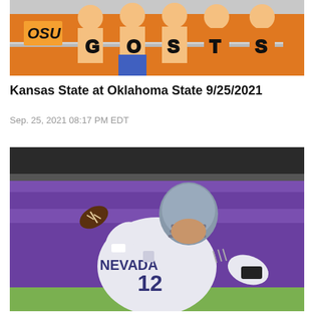[Figure (photo): OSU fans in orange shirts/body paint with OSU logo visible in stadium stands]
Kansas State at Oklahoma State 9/25/2021
Sep. 25, 2021 08:17 PM EDT
[Figure (photo): Nevada football player #12 in white jersey throwing a football, with purple stadium seats in background]